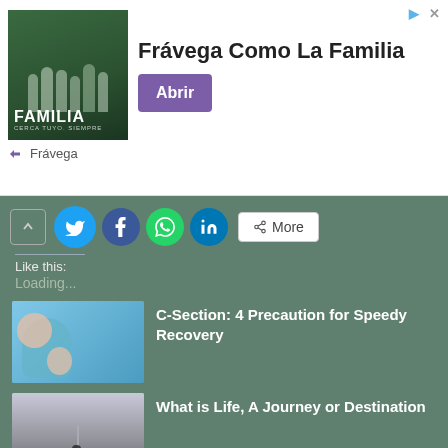[Figure (photo): Advertisement banner for Frávega with image of people and text 'FAMILIA CERCA TUYO. SIEMPRE']
Frávega Como La Familia
Abrir
Frávega
[Figure (infographic): Social share bar with up arrow, Twitter, Facebook, WhatsApp, LinkedIn buttons and More button]
Like this:
Loading...
[Figure (photo): Thumbnail of mother holding baby for C-Section article]
C-Section: 4 Precaution for Speedy Recovery
[Figure (photo): Thumbnail of road with people walking for Life Journey article]
What is Life, A Journey or Destination